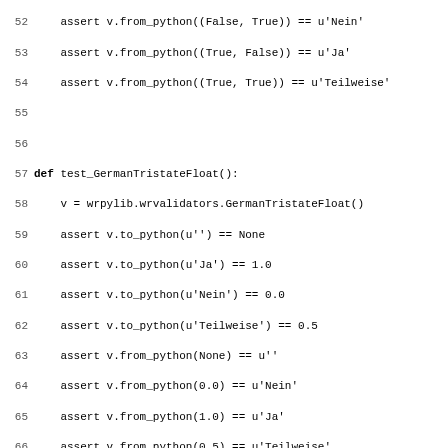Code listing showing Python unit test functions for GermanTristateFloat and ValueCommentList validators, lines 52-83.